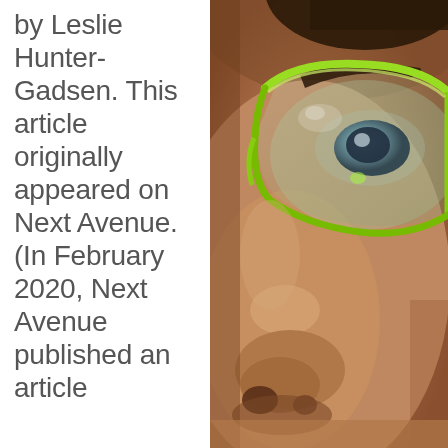by Leslie Hunter-Gadsen. This article originally appeared on Next Avenue. (In February 2020, Next Avenue published an article
[Figure (photo): Close-up photo of a person's face wearing green-framed glasses, showing the nose bridge area and the eye visible through the lens]